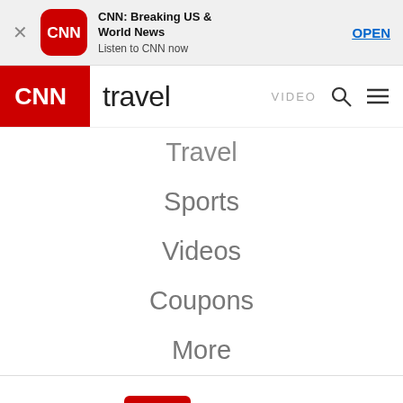[Figure (screenshot): CNN app banner with close button, CNN icon, app name 'CNN: Breaking US & World News', subtitle 'Listen to CNN now', and OPEN button]
[Figure (logo): CNN Travel navigation bar with red CNN logo, 'travel' text, VIDEO label, search icon, and hamburger menu]
Travel
Sports
Videos
Coupons
More
[Figure (logo): CNN Travel logo with red CNN box and 'travel' text]
FOLLOW CNN
[Figure (other): Social media icons for Facebook, Twitter, Instagram]